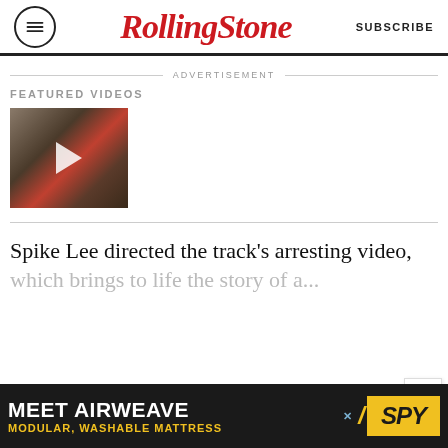Rolling Stone | SUBSCRIBE
ADVERTISEMENT
FEATURED VIDEOS
[Figure (photo): Video thumbnail showing a person, with a play button overlay]
Spike Lee directed the track's arresting video,
[Figure (infographic): Advertisement banner: MEET AIRWEAVE - MODULAR, WASHABLE MATTRESS - SPY]